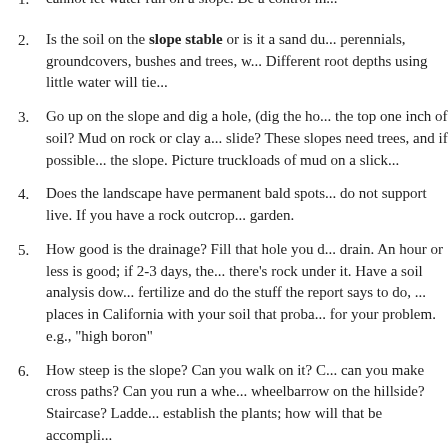cannot let water run on a slope. Be a control...
Is the soil on the slope stable or is it a sand du... perennials, groundcovers, bushes and trees, w... Different root depths using little water will tie...
Go up on the slope and dig a hole, (dig the ho... the top one inch of soil? Mud on rock or clay a... slide? These slopes need trees, and if possible... the slope. Picture truckloads of mud on a slick...
Does the landscape have permanent bald spots... do not support live. If you have a rock outcrop... garden.
How good is the drainage? Fill that hole you d... drain. An hour or less is good; if 2-3 days, the... there's rock under it. Have a soil analysis dow... fertilize and do the stuff the report says to do,... places in California with your soil that proba... for your problem. e.g., "high boron"
How steep is the slope? Can you walk on it? C... can you make cross paths? Can you run a whe... wheelbarrow on the hillside? Staircase? Ladde... establish the plants; how will that be accompli...